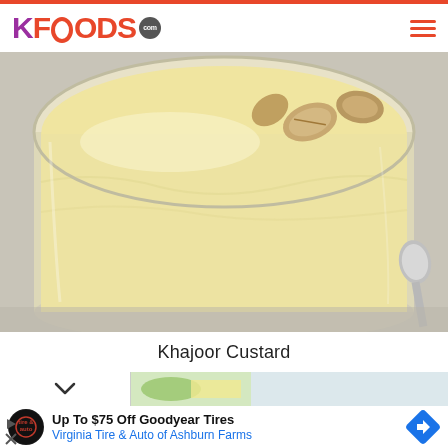KFOODS.com
[Figure (photo): A glass jar filled with creamy pale yellow khajoor (date) custard topped with almonds, with a spoon visible in the background on a gray surface.]
Khajoor Custard
[Figure (photo): A partial thumbnail strip showing a food item with green leaves, partially visible below a chevron/collapse button.]
Up To $75 Off Goodyear Tires
Virginia Tire & Auto of Ashburn Farms